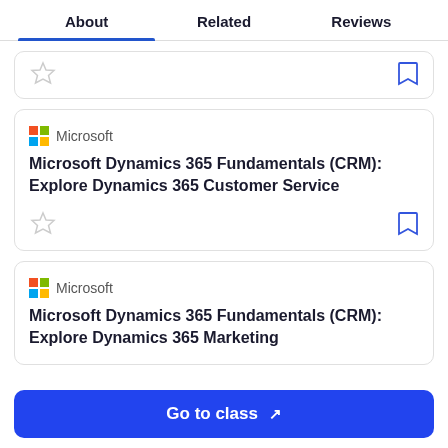About | Related | Reviews
Microsoft — Microsoft Dynamics 365 Fundamentals (CRM): Explore Dynamics 365 Customer Service
Microsoft — Microsoft Dynamics 365 Fundamentals (CRM): Explore Dynamics 365 Marketing
Go to class